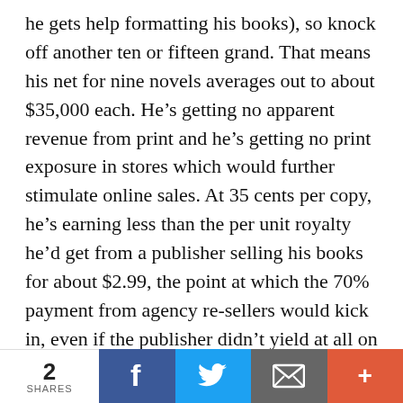he gets help formatting his books), so knock off another ten or fifteen grand. That means his net for nine novels averages out to about $35,000 each. He's getting no apparent revenue from print and he's getting no print exposure in stores which would further stimulate online sales. At 35 cents per copy, he's earning less than the per unit royalty he'd get from a publisher selling his books for about $2.99, the point at which the 70% payment from agency re-sellers would kick in, even if the publisher didn't yield at all on the now-prevailing 25% royalty standard. And if his books were $9.99, he'd be getting $1.75 a
2 SHARES | Facebook | Twitter | Email | More